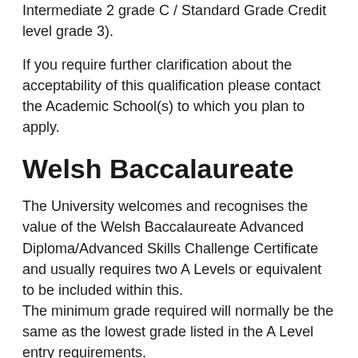Intermediate 2 grade C / Standard Grade Credit level grade 3).
If you require further clarification about the acceptability of this qualification please contact the Academic School(s) to which you plan to apply.
Welsh Baccalaureate
The University welcomes and recognises the value of the Welsh Baccalaureate Advanced Diploma/Advanced Skills Challenge Certificate and usually requires two A Levels or equivalent to be included within this.
The minimum grade required will normally be the same as the lowest grade listed in the A Level entry requirements.
If you require further clarification about the acceptability of this qualification please contact the